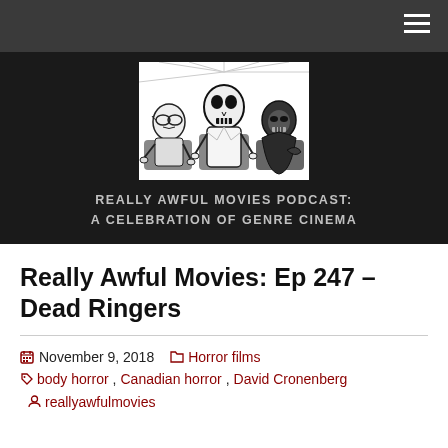Navigation bar with hamburger menu
[Figure (illustration): Really Awful Movies Podcast logo: black and white illustration of three monster/horror figures sitting in movie theater seats]
REALLY AWFUL MOVIES PODCAST: A CELEBRATION OF GENRE CINEMA
Really Awful Movies: Ep 247 – Dead Ringers
November 9, 2018   Horror films   body horror, Canadian horror, David Cronenberg   reallyawfulmovies